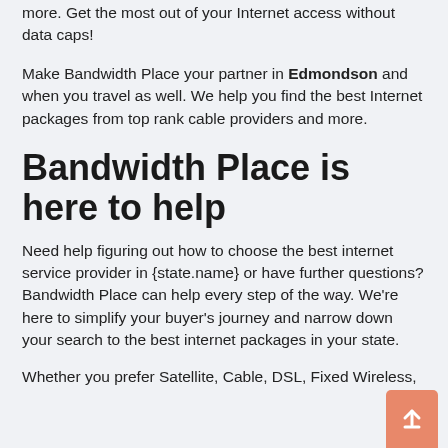more. Get the most out of your Internet access without data caps!
Make Bandwidth Place your partner in Edmondson and when you travel as well. We help you find the best Internet packages from top rank cable providers and more.
Bandwidth Place is here to help
Need help figuring out how to choose the best internet service provider in {state.name} or have further questions? Bandwidth Place can help every step of the way. We're here to simplify your buyer's journey and narrow down your search to the best internet packages in your state.
Whether you prefer Satellite, Cable, DSL, Fixed Wireless,